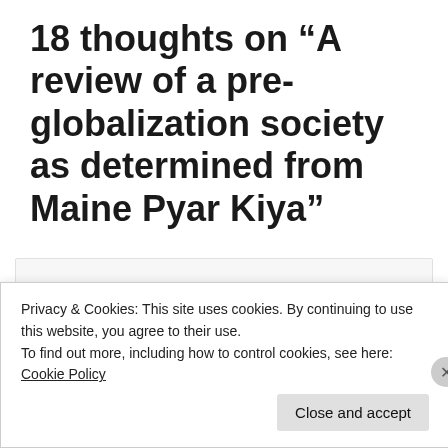18 thoughts on “A review of a pre-globalization society as determined from Maine Pyar Kiya”
Gurdit
March 13, 2010 at 4:05 AM
Privacy & Cookies: This site uses cookies. By continuing to use this website, you agree to their use.
To find out more, including how to control cookies, see here: Cookie Policy
Close and accept